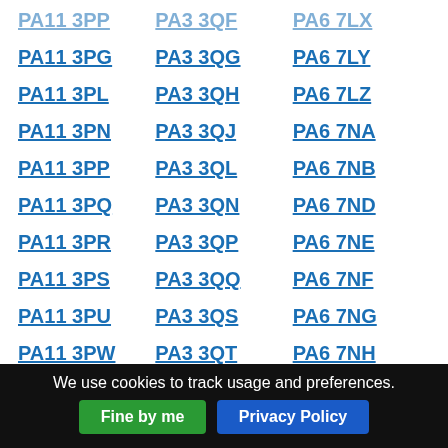PA11 3PP
PA11 3PG
PA11 3PL
PA11 3PN
PA11 3PP
PA11 3PQ
PA11 3PR
PA11 3PS
PA11 3PU
PA11 3PW
PA11 3PX
PA11 3PZ
PA11 3QA
PA3 3QF
PA3 3QG
PA3 3QH
PA3 3QJ
PA3 3QL
PA3 3QN
PA3 3QP
PA3 3QQ
PA3 3QS
PA3 3QT
PA3 3QU
PA3 3QW
PA3 3QX
PA6 7LX
PA6 7LY
PA6 7LZ
PA6 7NA
PA6 7NB
PA6 7ND
PA6 7NE
PA6 7NF
PA6 7NG
PA6 7NH
PA6 7NJ
PA6 7NL
PA6 7NN
We use cookies to track usage and preferences.
Fine by me
Privacy Policy